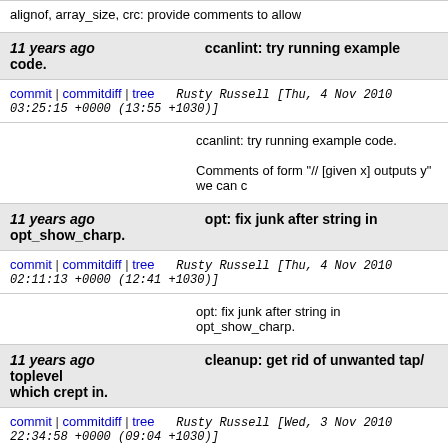alignof, array_size, crc: provide comments to allow
11 years ago    ccanlint: try running example code.
commit | commitdiff | tree    Rusty Russell [Thu, 4 Nov 2010 03:25:15 +0000 (13:55 +1030)]
ccanlint: try running example code.

Comments of form "// [given x] outputs y" we can c
11 years ago    opt: fix junk after string in opt_show_charp.
commit | commitdiff | tree    Rusty Russell [Thu, 4 Nov 2010 02:11:13 +0000 (12:41 +1030)]
opt: fix junk after string in opt_show_charp.
11 years ago    cleanup: get rid of unwanted tap/ toplevel which crept in.
commit | commitdiff | tree    Rusty Russell [Wed, 3 Nov 2010 22:34:58 +0000 (09:04 +1030)]
cleanup: get rid of unwanted tap/ toplevel which cr